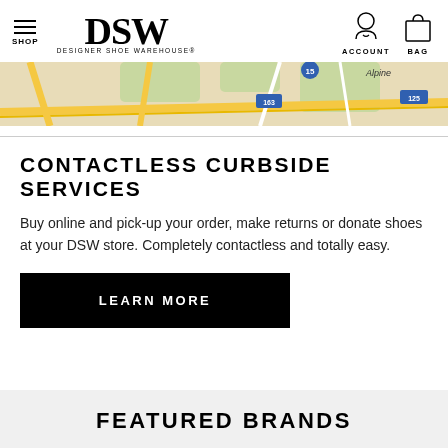SHOP  DSW DESIGNER SHOE WAREHOUSE  ACCOUNT  BAG
[Figure (map): Map strip showing roads with route markers 15, 163, 125 and Alpine label]
CONTACTLESS CURBSIDE SERVICES
Buy online and pick-up your order, make returns or donate shoes at your DSW store. Completely contactless and totally easy.
LEARN MORE
FEATURED BRANDS